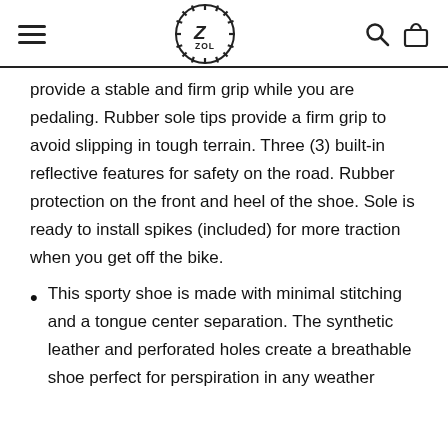ZOL (logo)
provide a stable and firm grip while you are pedaling. Rubber sole tips provide a firm grip to avoid slipping in tough terrain. Three (3) built-in reflective features for safety on the road. Rubber protection on the front and heel of the shoe. Sole is ready to install spikes (included) for more traction when you get off the bike.
This sporty shoe is made with minimal stitching and a tongue center separation. The synthetic leather and perforated holes create a breathable shoe perfect for perspiration in any weather